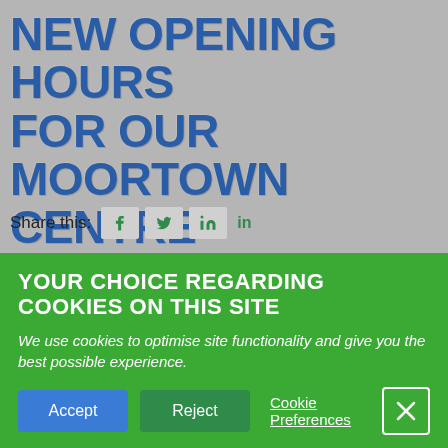NEW OPENING HOURS FOR OUR MOORTOWN CENTRE
Share this:
From August our Moortown centre will change its opening hours to Tuesdays and Fridays. We will no longer have the Monday and Wednesday sessions at this venue
YOUR CHOICE REGARDING COOKIES ON THIS SITE
We use cookies to optimise site functionality and give you the best possible experience.
Accept   Reject   Cookie Preferences